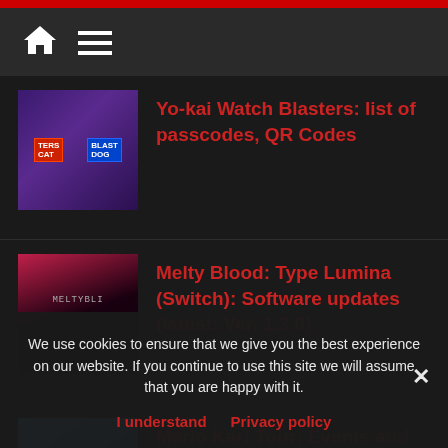Navigation bar with home icon and menu icon
Yo-kai Watch Blasters: list of passcodes, QR Codes
Melty Blood: Type Lumina (Switch): Software updates (latest: Ver. 1.3.0)
Mario Kart Tour: Events and Content Updates
(schedule)
We use cookies to ensure that we give you the best experience on our website. If you continue to use this site we will assume that you are happy with it.
I understand   Privacy policy